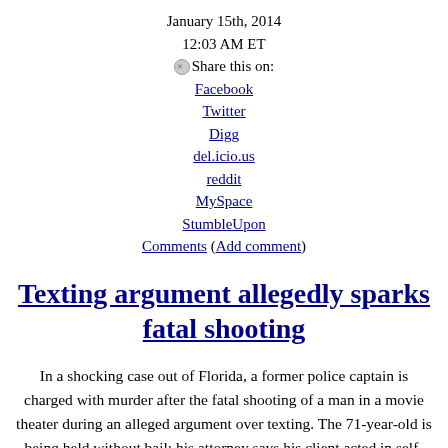January 15th, 2014
12:03 AM ET
Share this on:
Facebook
Twitter
Digg
del.icio.us
reddit
MySpace
StumbleUpon
Comments (Add comment)
Texting argument allegedly sparks fatal shooting
In a shocking case out of Florida, a former police captain is charged with murder after the fatal shooting of a man in a movie theater during an alleged argument over texting. The 71-year-old is being held without bail; his attorney says his client acted in self-defense. Eyewitnesses say they didn't see punches thrown, only popcorn. Christiane Amanpour, Dan Savage, Margaret Hoover, Frank Bruni, and Mark O'Mara discuss the case and the likelihood of this man's release under Florida law.